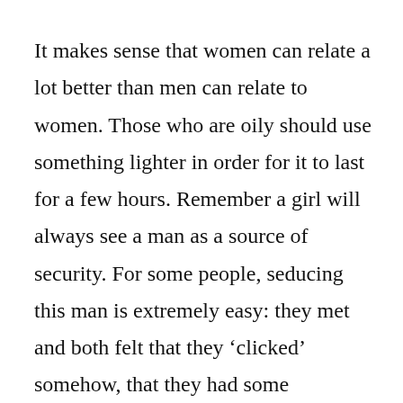It makes sense that women can relate a lot better than men can relate to women. Those who are oily should use something lighter in order for it to last for a few hours. Remember a girl will always see a man as a source of security. For some people, seducing this man is extremely easy: they met and both felt that they ‘clicked’ somehow, that they had some emotional or spiritual ‘connection’; the Piscean man can be easily ‘swept off his feet’.